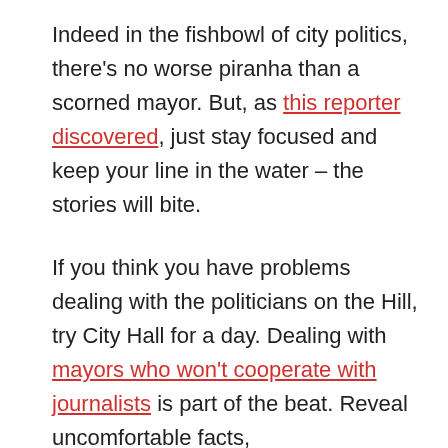Indeed in the fishbowl of city politics, there's no worse piranha than a scorned mayor. But, as this reporter discovered, just stay focused and keep your line in the water – the stories will bite.
If you think you have problems dealing with the politicians on the Hill, try City Hall for a day. Dealing with mayors who won't cooperate with journalists is part of the beat. Reveal uncomfortable facts,